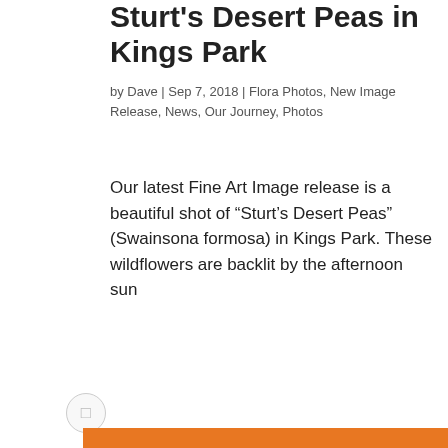Sturt's Desert Peas in Kings Park
by Dave | Sep 7, 2018 | Flora Photos, New Image Release, News, Our Journey, Photos
Our latest Fine Art Image release is a beautiful shot of “Sturt’s Desert Peas” (Swainsona formosa) in Kings Park. These wildflowers are backlit by the afternoon sun ...een luminance ...of the sun ...round the leaves.
[Figure (other): Subscribe to our VIP Club for Free popup overlay with orange header, form fields for First Name, Last Name, Email, a SUBSCRIBE! button, and a privacy note.]
...rchase as a Fine ...range of Photo ...s, Studio ...pestries, Mugs & ...t Western